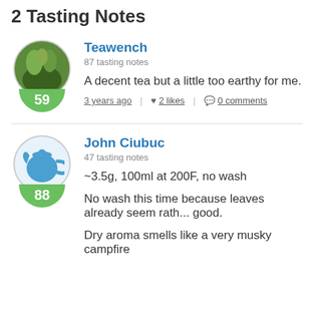2 Tasting Notes
Teawench
87 tasting notes
A decent tea but a little too earthy for me.
3 years ago | 2 likes | 0 comments
John Ciubuc
47 tasting notes
~3.5g, 100ml at 200F, no wash
No wash this time because leaves already seem rath... good.
Dry aroma smells like a very musky campfire
Wet aroma smells like...